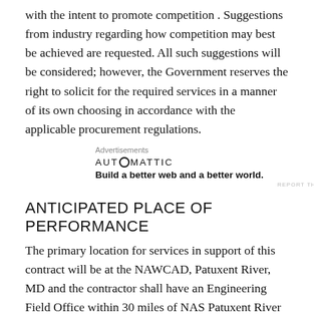with the intent to promote competition . Suggestions from industry regarding how competition may best be achieved are requested. All such suggestions will be considered; however, the Government reserves the right to solicit for the required services in a manner of its own choosing in accordance with the applicable procurement regulations.
[Figure (other): Automattic advertisement: 'Build a better web and a better world.']
ANTICIPATED PLACE OF PERFORMANCE
The primary location for services in support of this contract will be at the NAWCAD, Patuxent River, MD and the contractor shall have an Engineering Field Office within 30 miles of NAS Patuxent River to facilitate technical monitoring of task progress/adequacy and rapid response